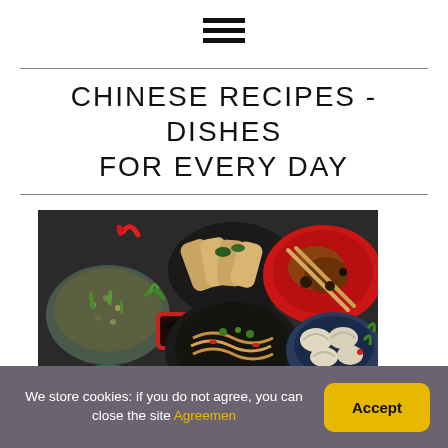[Figure (other): Hamburger menu icon with three horizontal bars]
CHINESE RECIPES - DISHES FOR EVERY DAY
[Figure (photo): Overhead view of various Chinese dishes including spring rolls, noodles, dumplings, fried rice, and braised chicken arranged on dark plates and bowls on a dark background]
We store cookies: if you do not agree, you can close the site Agreemen